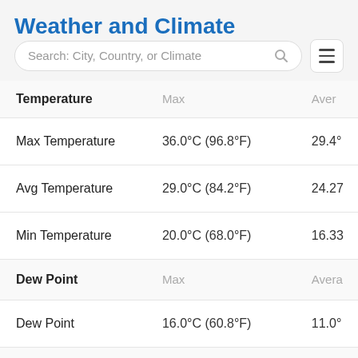Weather and Climate
[Figure (screenshot): Search bar with placeholder text 'Search: City, Country, or Climate' and a hamburger menu icon]
| Temperature | Max | Aver... |
| --- | --- | --- |
| Max Temperature | 36.0°C (96.8°F) | 29.4°... |
| Avg Temperature | 29.0°C (84.2°F) | 24.27... |
| Min Temperature | 20.0°C (68.0°F) | 16.33... |
| Dew Point | Max | Avera... |
| Dew Point | 16.0°C (60.8°F) | 11.0°... |
| Precipitation | Max |  |
| Precipitation | 3.9mm | 0.12in | 0.28m... |